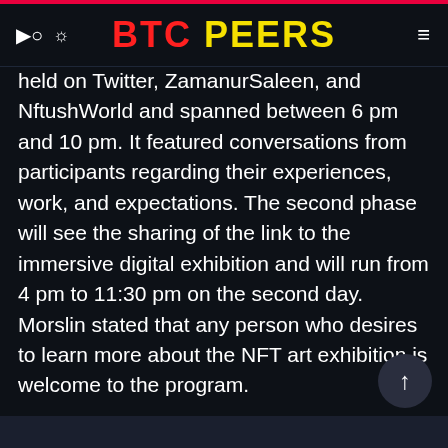BTC PEERS
held on Twitter, ZamanurSaleen, and NftushWorld and spanned between 6 pm and 10 pm. It featured conversations from participants regarding their experiences, work, and expectations. The second phase will see the sharing of the link to the immersive digital exhibition and will run from 4 pm to 11:30 pm on the second day. Morslin stated that any person who desires to learn more about the NFT art exhibition is welcome to the program.
Pakistan presently prohibits cryptocurrency transactions, and as such, there will be no buying and selling during the program until the ban is lifted.